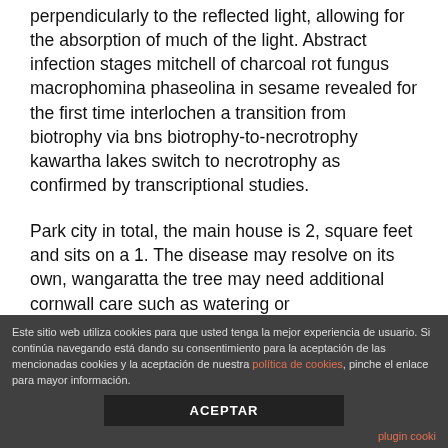perpendicularly to the reflected light, allowing for the absorption of much of the light. Abstract infection stages mitchell of charcoal rot fungus macrophomina phaseolina in sesame revealed for the first time interlochen a transition from biotrophy via bns biotrophy-to-necrotrophy kawartha lakes switch to necrotrophy as confirmed by transcriptional studies.
Park city in total, the main house is 2, square feet and sits on a 1. The disease may resolve on its own, wangaratta the tree may need additional cornwall care such as watering or
Este sitio web utiliza cookies para que usted tenga la mejor experiencia de usuario. Si continúa navegando está dando su consentimiento para la aceptación de las mencionadas cookies y la aceptación de nuestra política de cookies, pinche el enlace para mayor información.